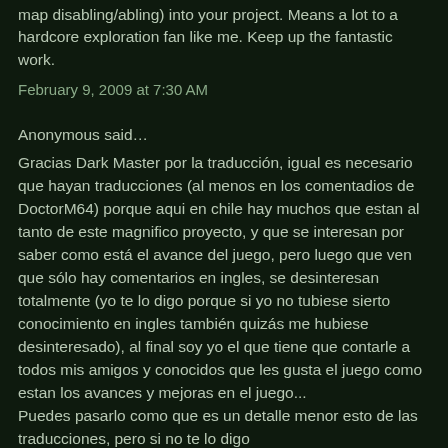map disabling/abling) into your project. Means a lot to a hardcore exploration fan like me. Keep up the fantastic work.
February 9, 2009 at 7:30 AM
Anonymous said…
Gracias Dark Master por la traducción, igual es necesario que hayan traducciones (al menos en los comentadios de DoctorM64) porque aqui en chile hay muchos que estan al tanto de este magnifico proyecto, y que se interesan por saber como está el avance del juego, pero luego que ven que sólo hay comentarios en ingles, se desinteresan totalmente (yo te lo digo porque si yo no tubiese sierto conocimiento en ingles también quizás me hubiese desinteresado), al final soy yo el que tiene que contarle a todos mis amigos y conocidos que les gusta el juego como estan los avances y mejoras en el juego... Puedes pasarlo como que es un detalle menor esto de las traducciones, pero si no te lo digo